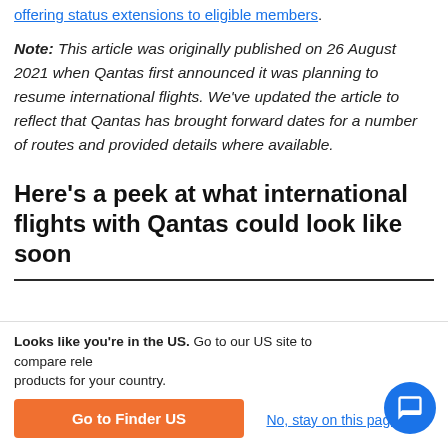offering status extensions to eligible members.
Note: This article was originally published on 26 August 2021 when Qantas first announced it was planning to resume international flights. We've updated the article to reflect that Qantas has brought forward dates for a number of routes and provided details where available.
Here's a peek at what international flights with Qantas could look like soon
Looks like you're in the US. Go to our US site to compare relevant products for your country.
Go to Finder US
No, stay on this page